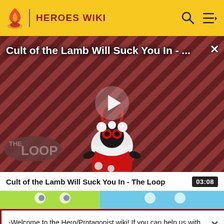HEROES WIKI
[Figure (screenshot): Video thumbnail for 'Cult of the Lamb Will Suck You In - The Loop' showing a cartoon lamb character with red eyes on a striped background, with a play button overlay and THE LOOP badge in the lower left.]
Cult of the Lamb Will Suck You In - The Loop  03:08
[Figure (screenshot): Thumbnail strip showing colorful cartoon characters including SpongeBob.]
-Welcome to the Hero/Protagonist wiki! If you can help us with this wiki please sign up and help us! Thanks! -M-NUva